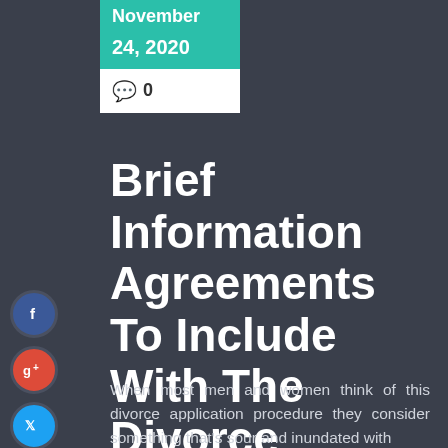November 24, 2020
0
Brief Information Agreements To Include With The Divorce Application
When most men and women think of this divorce application procedure they consider something that's sour and inundated with